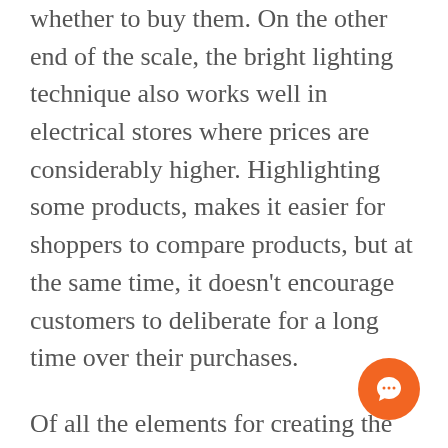whether to buy them. On the other end of the scale, the bright lighting technique also works well in electrical stores where prices are considerably higher. Highlighting some products, makes it easier for shoppers to compare products, but at the same time, it doesn't encourage customers to deliberate for a long time over their purchases.
Of all the elements for creating the perfect shopping experience, lighting is possibly the most important area for consideration, as good lighting can bring a space to life, even if the other areas aren't quite as good. Lighting quite literally